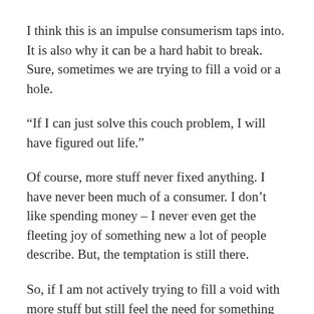I think this is an impulse consumerism taps into. It is also why it can be a hard habit to break. Sure, sometimes we are trying to fill a void or a hole.
“If I can just solve this couch problem, I will have figured out life.”
Of course, more stuff never fixed anything. I have never been much of a consumer. I don’t like spending money – I never even get the fleeting joy of something new a lot of people describe. But, the temptation is still there.
So, if I am not actively trying to fill a void with more stuff but still feel the need for something more – where is the problem?
Is the problem I am not content with my current